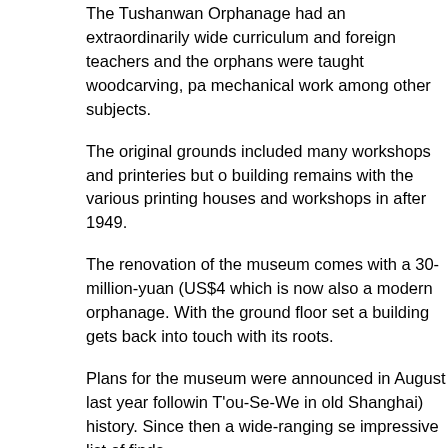The Tushanwan Orphanage had an extraordinarily wide curriculum and foreign teachers and the orphans were taught woodcarving, pa mechanical work among other subjects.
The original grounds included many workshops and printeries but o building remains with the various printing houses and workshops in after 1949.
The renovation of the museum comes with a 30-million-yuan (US$4 which is now also a modern orphanage. With the ground floor set a building gets back into touch with its roots.
Plans for the museum were announced in August last year followin T'ou-Se-We in old Shanghai) history. Since then a wide-ranging se impressive list of finds.
Top of the list is a 97-year-old wooden archway made for the Pana 1912. Named the "Chinese Archway," it was nearly 6 meters tall an throughout, including 10 lions guarding its four pillars.
It went on to star in two further expos in Chicago in 1933 and New after being sold to an American businessman following the New Yo
Earlier this month it was brought back to its birthplace, touching gro when its then-owner, a private collector in Sweden, found out abou